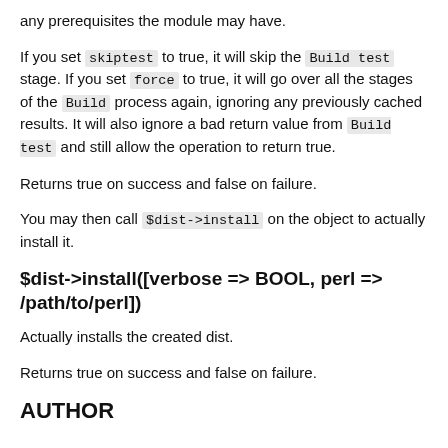any prerequisites the module may have.
If you set skiptest to true, it will skip the Build test stage. If you set force to true, it will go over all the stages of the Build process again, ignoring any previously cached results. It will also ignore a bad return value from Build test and still allow the operation to return true.
Returns true on success and false on failure.
You may then call $dist->install on the object to actually install it.
$dist->install([verbose => BOOL, perl => /path/to/perl])
Actually installs the created dist.
Returns true on success and false on failure.
AUTHOR